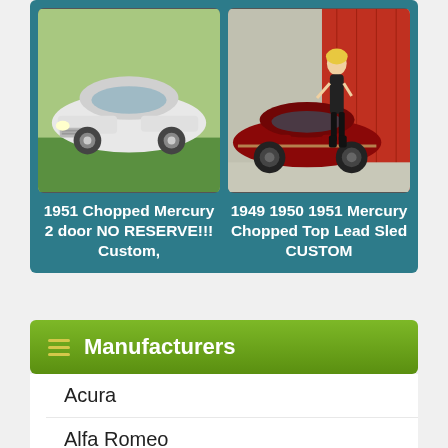[Figure (photo): Two classic custom cars side by side. Left: 1951 white chopped Mercury 2-door on grass. Right: 1949-1951 red Mercury chopped top lead sled custom with a woman posing next to it in front of a red barn.]
1951 Chopped Mercury 2 door NO RESERVE!!! Custom,
1949 1950 1951 Mercury Chopped Top Lead Sled CUSTOM
Manufacturers
Acura
Alfa Romeo
AMC